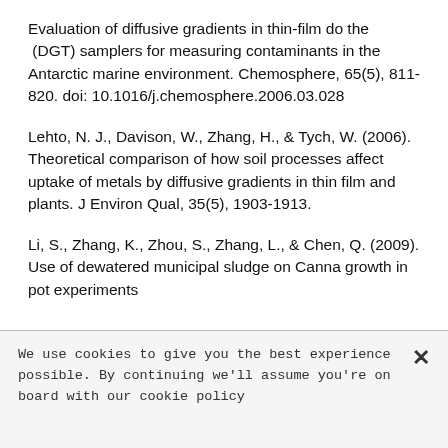Evaluation of diffusive gradients in thin-film do the (DGT) samplers for measuring contaminants in the Antarctic marine environment. Chemosphere, 65(5), 811-820. doi: 10.1016/j.chemosphere.2006.03.028
Lehto, N. J., Davison, W., Zhang, H., & Tych, W. (2006). Theoretical comparison of how soil processes affect uptake of metals by diffusive gradients in thin film and plants. J Environ Qual, 35(5), 1903-1913.
Li, S., Zhang, K., Zhou, S., Zhang, L., & Chen, Q. (2009). Use of dewatered municipal sludge on Canna growth in pot experiments
We use cookies to give you the best experience possible. By continuing we'll assume you're on board with our cookie policy